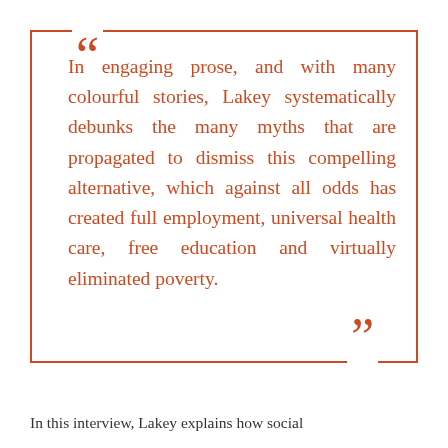In engaging prose, and with many colourful stories, Lakey systematically debunks the many myths that are propagated to dismiss this compelling alternative, which against all odds has created full employment, universal health care, free education and virtually eliminated poverty.
In this interview, Lakey explains how social